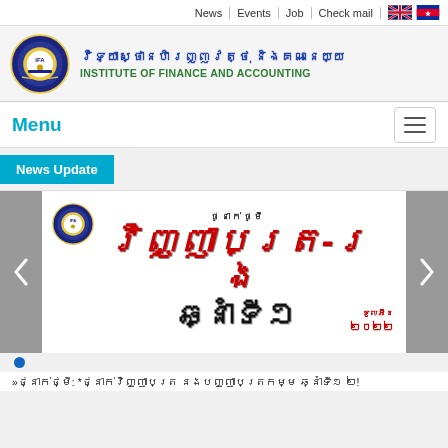News | Events | Job | Check mail
[Figure (logo): IFA circular seal/logo in blue and gold]
វិទ្យាស្ថានហិរញ្ញវត្ថុ និងគណនេយ្យ INSTITUTE OF FINANCE AND ACCOUNTING
Menu
News Update
[Figure (screenshot): Slideshow banner with IFA logo, Khmer text in red and black for a training/course announcement, and navigation arrows on the sides]
»ថ្នាក់ថ្មី: *ថ្នាក់វិញ្ញាបត្រ នងបញ្ញាបត្រកម្ម ឆ្នាំទី១ ២!